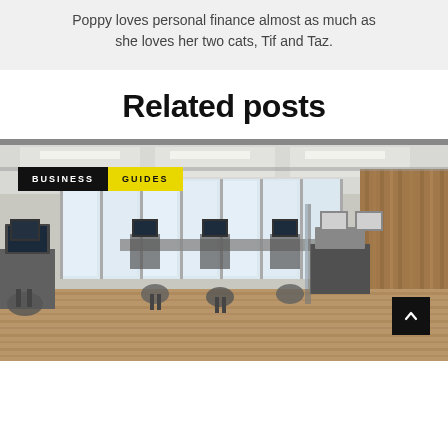Poppy loves personal finance almost as much as she loves her two cats, Tif and Taz.
Related posts
[Figure (photo): Office interior photo showing rows of desks with computers and monitors, large windows, hardwood floors, with overlaid BUSINESS and GUIDES tags and a scroll-to-top button]